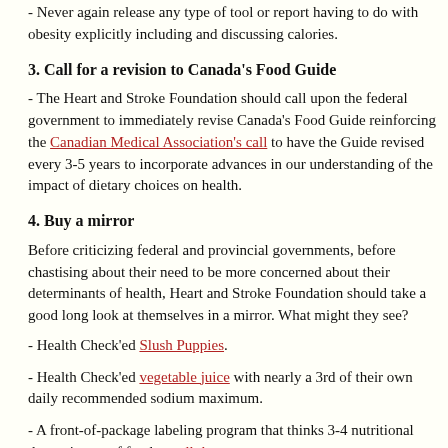- Never again release any type of tool or report having to do with obesity explicitly including and discussing calories.
3. Call for a revision to Canada's Food Guide
- The Heart and Stroke Foundation should call upon the federal government to immediately revise Canada's Food Guide reinforcing the Canadian Medical Association's call to have the Guide revised every 3-5 years to incorporate advances in our understanding of the impact of dietary choices on health.
4. Buy a mirror
Before criticizing federal and provincial governments, before chastising about their need to be more concerned about their determinants of health, Heart and Stroke Foundation should take a good long look at themselves in a mirror. What might they see?
- Health Check'ed Slush Puppies.
- Health Check'ed vegetable juice with nearly a 3rd of their own daily recommended sodium maximum.
- A front-of-package labeling program that thinks 3-4 nutritional determinants of food are all that matter.